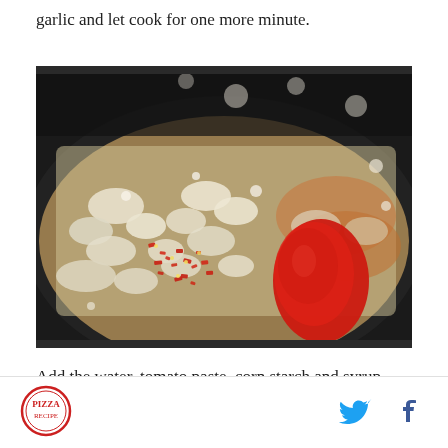garlic and let cook for one more minute.
[Figure (photo): A cooking pot with chopped onions, red pepper flakes, and a large dollop of red tomato paste, all bubbling in liquid.]
Add the water, tomato paste, corn starch and syrup, salt, and red pepper flakes. Bring to a boil, whisk until
Logo and social media icons (Twitter, Facebook)